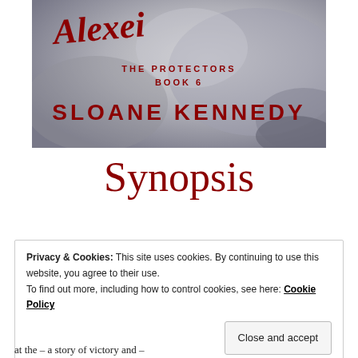[Figure (illustration): Book cover for 'The Protectors Book 6' by Sloane Kennedy. Dark watercolor background in grey tones with red script title text and bold red author name.]
Synopsis
Privacy & Cookies: This site uses cookies. By continuing to use this website, you agree to their use.
To find out more, including how to control cookies, see here: Cookie Policy
Close and accept
at the – a story of victory and –